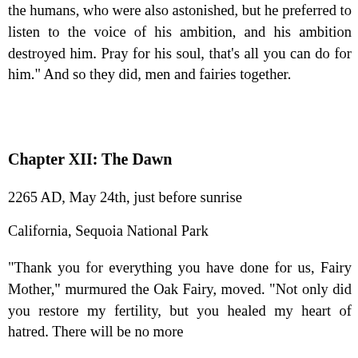the humans, who were also astonished, but he preferred to listen to the voice of his ambition, and his ambition destroyed him. Pray for his soul, that's all you can do for him." And so they did, men and fairies together.
Chapter XII: The Dawn
2265 AD, May 24th, just before sunrise
California, Sequoia National Park
"Thank you for everything you have done for us, Fairy Mother," murmured the Oak Fairy, moved. "Not only did you restore my fertility, but you healed my heart of hatred. There will be no more